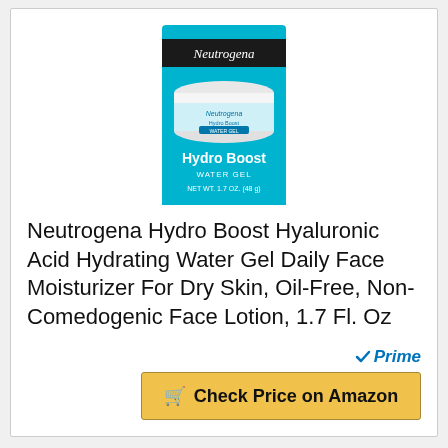[Figure (photo): Neutrogena Hydro Boost Water Gel product jar, 1.7 OZ (48g), in blue and white packaging]
Neutrogena Hydro Boost Hyaluronic Acid Hydrating Water Gel Daily Face Moisturizer For Dry Skin, Oil-Free, Non-Comedogenic Face Lotion, 1.7 Fl. Oz
[Figure (logo): Amazon Prime badge with blue checkmark and italic Prime text]
Check Price on Amazon
BESTSELLER NO. 10